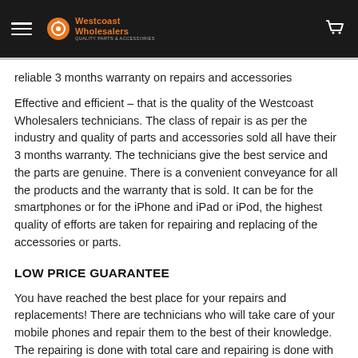Westcoast Wholesalers — Quality Parts & Accessories
reliable 3 months warranty on repairs and accessories
Effective and efficient – that is the quality of the Westcoast Wholesalers technicians. The class of repair is as per the industry and quality of parts and accessories sold all have their 3 months warranty. The technicians give the best service and the parts are genuine. There is a convenient conveyance for all the products and the warranty that is sold. It can be for the smartphones or for the iPhone and iPad or iPod, the highest quality of efforts are taken for repairing and replacing of the accessories or parts.
LOW PRICE GUARANTEE
You have reached the best place for your repairs and replacements! There are technicians who will take care of your mobile phones and repair them to the best of their knowledge. The repairing is done with total care and repairing is done with completely genuine parts